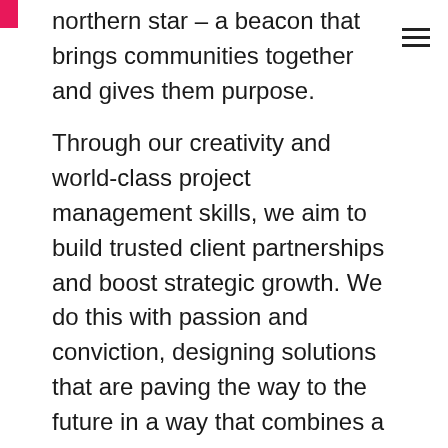northern star – a beacon that brings communities together and gives them purpose.
Through our creativity and world-class project management skills, we aim to build trusted client partnerships and boost strategic growth. We do this with passion and conviction, designing solutions that are paving the way to the future in a way that combines a global, human-centred, and responsible approach.